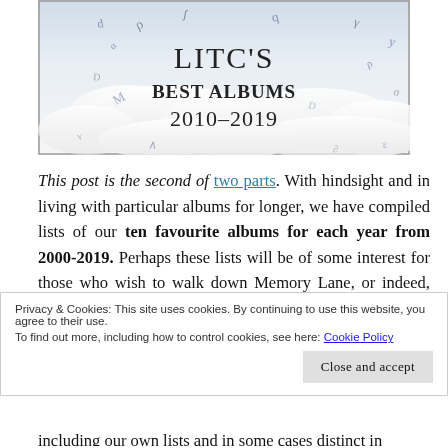[Figure (illustration): Banner image with cloudy sky background and floating letters/musical notes. Text reads LITC'S BEST ALBUMS 2010-2019 in bold serif font.]
This post is the second of two parts. With hindsight and in living with particular albums for longer, we have compiled lists of our ten favourite albums for each year from 2000-2019. Perhaps these lists will be of some interest for those who wish to walk down Memory Lane, or indeed, for those who might wonder
Privacy & Cookies: This site uses cookies. By continuing to use this website, you agree to their use.
To find out more, including how to control cookies, see here: Cookie Policy
including our own lists and in some cases distinct in